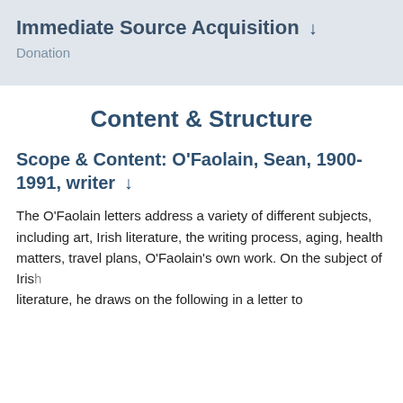Immediate Source Acquisition ↓
Donation
Content & Structure
Scope & Content: O'Faolain, Sean, 1900-1991, writer ↓
The O'Faolain letters address a variety of different subjects, including art, Irish literature, the writing process, aging, health matters, travel plans, O'Faolain's own work. On the subject of Irish literature, he draws on the following in a letter to